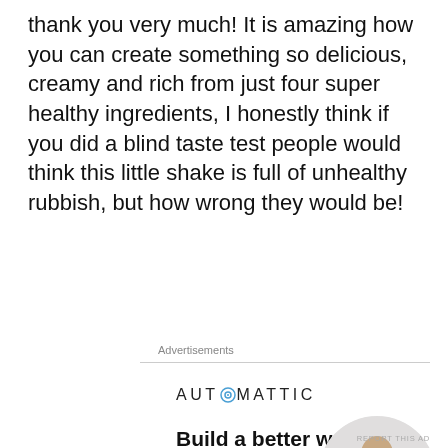thank you very much! It is amazing how you can create something so delicious, creamy and rich from just four super healthy ingredients, I honestly think if you did a blind taste test people would think this little shake is full of unhealthy rubbish, but how wrong they would be!
Advertisements
[Figure (infographic): Automattic advertisement featuring logo, headline 'Build a better web and a better world.', an Apply button, and a circular photo of a man thinking]
REPORT THIS AD